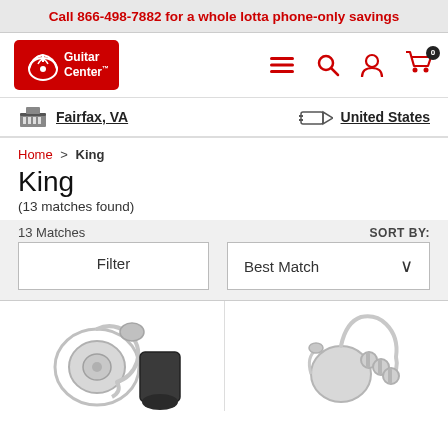Call 866-498-7882 for a whole lotta phone-only savings
[Figure (logo): Guitar Center logo - red rectangle with guitar icon and text 'Guitar Center']
[Figure (screenshot): Navigation icons: hamburger menu, search magnifier, user account, shopping cart with 0 items]
Fairfax, VA
United States
Home > King
King
(13 matches found)
13 Matches
SORT BY:
Filter
Best Match
[Figure (photo): Silver sousaphone/tuba instrument with case]
[Figure (photo): Silver marching baritone/euphonium brass instrument]